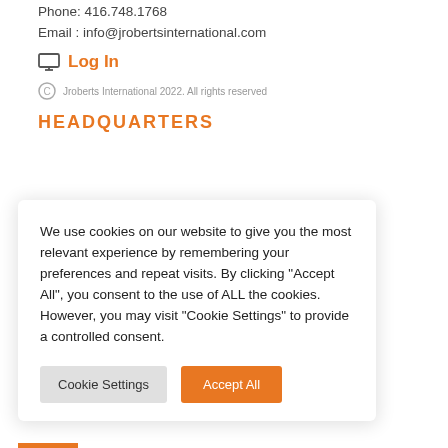Phone: 416.748.1768
Email : info@jrobertsinternational.com
Log In
Jroberts International 2022. All rights reserved
HEADQUARTERS
We use cookies on our website to give you the most relevant experience by remembering your preferences and repeat visits. By clicking "Accept All", you consent to the use of ALL the cookies. However, you may visit "Cookie Settings" to provide a controlled consent.
Cookie Settings
Accept All